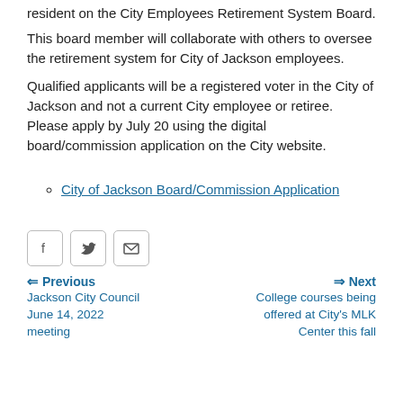resident on the City Employees Retirement System Board.
This board member will collaborate with others to oversee the retirement system for City of Jackson employees.
Qualified applicants will be a registered voter in the City of Jackson and not a current City employee or retiree. Please apply by July 20 using the digital board/commission application on the City website.
City of Jackson Board/Commission Application
[Figure (other): Social sharing buttons: Facebook, Twitter, Email]
Previous — Jackson City Council June 14, 2022 meeting
Next — College courses being offered at City's MLK Center this fall